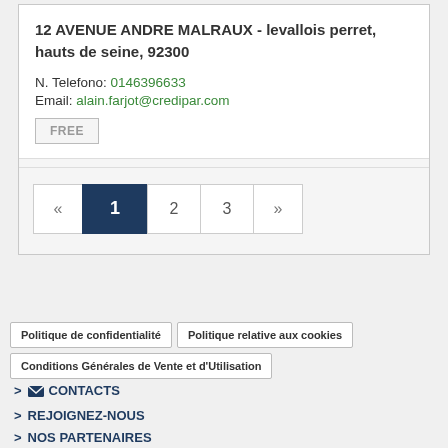12 AVENUE ANDRE MALRAUX - levallois perret, hauts de seine, 92300
N. Telefono: 0146396633
Email: alain.farjot@credipar.com
FREE
« 1 2 3 »
Politique de confidentialité  Politique relative aux cookies  Conditions Générales de Vente et d'Utilisation
> CONTACTS
> REJOIGNEZ-NOUS
> NOS PARTENAIRES